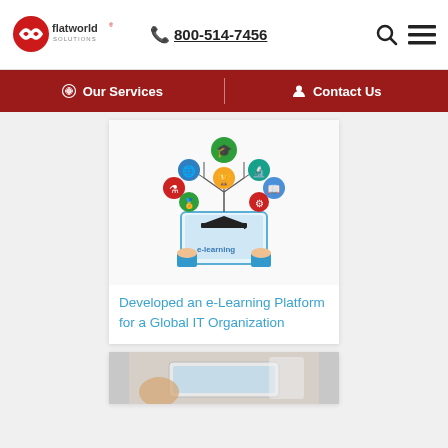Flatworld Solutions | 800-514-7456
Our Services | Contact Us
[Figure (illustration): E-learning illustration showing a tablet with a graduation cap and e-learning text, surrounded by colorful circular icons representing different educational subjects, held by hands wearing blue suit sleeves.]
Developed an e-Learning Platform for a Global IT Organization
[Figure (photo): Partial view of a person using a tablet or mobile device, partially visible at bottom of page.]